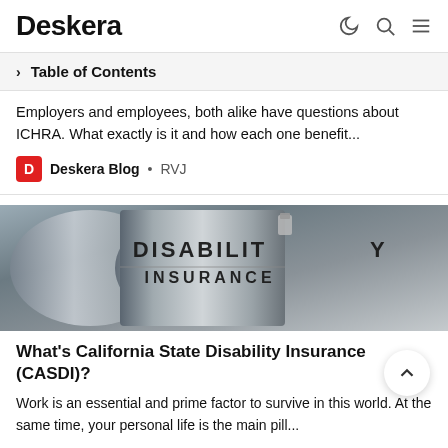Deskera
Table of Contents
Employers and employees, both alike have questions about ICHRA. What exactly is it and how each one benefit...
Deskera Blog • RVJ
[Figure (photo): Close-up photo of a filing binder labeled DISABILITY INSURANCE in bold uppercase letters]
What's California State Disability Insurance (CASDI)?
Work is an essential and prime factor to survive in this world. At the same time, your personal life is the main pill...